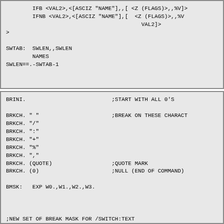IFB <VAL2>,<[ASCIZ "NAME"],,[<Z (FLAGS)>,,%V>
        IFNB <VAL2>,<[ASCIZ "NAME"],,[  <Z (FLAGS)>,,%V
                                         VAL2]>
>

SWTAB:  SWLEN,,SWLEN
        NAMES
SWLEN==.-SWTAB-1
BRINI.                          ;START WITH ALL 0'S

BRKCH. " "                      ;BREAK ON THESE CHARACT
BRKCH. "/"
BRKCH. ":"
BRKCH. "+"
BRKCH. "%"
BRKCH. ","
BRKCH. (QUOTE)                  ;QUOTE MARK
BRKCH. (0)                      ;NULL (END OF COMMAND)

BMSK:   EXP W0.,W1.,W2.,W3.



;NEW SET OF BREAK MASK FOR /SWITCH:TEXT

BRINI.                          ;START WITH ALL 0'S